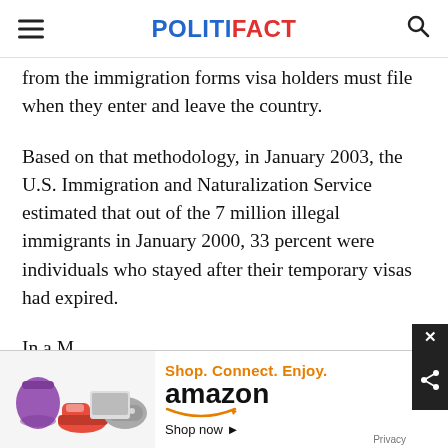POLITIFACT
from the immigration forms visa holders must file when they enter and leave the country.
Based on that methodology, in January 2003, the U.S. Immigration and Naturalization Service estimated that out of the 7 million illegal immigrants in January 2000, 33 percent were individuals who stayed after their temporary visas had expired.
In a M... Accou...
[Figure (screenshot): Amazon advertisement banner at the bottom of the page with product images, tagline 'Shop. Connect. Enjoy.' and 'amazon Shop now' text. A close button (x) and share icon overlay on the right side.]